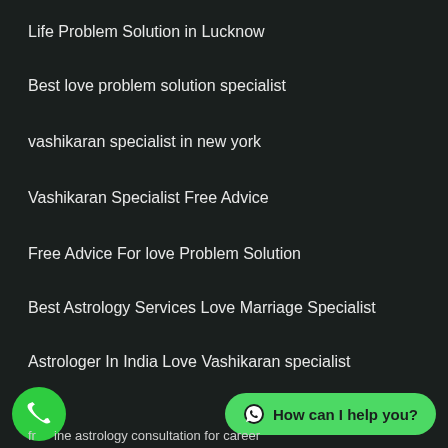Life Problem Solution in Lucknow
Best love problem solution specialist
vashikaran specialist in new york
Vashikaran Specialist Free Advice
Free Advice For love Problem Solution
Best Astrology Services Love Marriage Specialist
Astrologer In India Love Vashikaran specialist
Our Services 9
free online astrology consultation for career